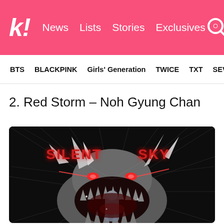k! News Lists Stories Exclusives
BTS BLACKPINK Girls' Generation TWICE TXT SEVE
2. Red Storm – Noh Gyung Chan
[Figure (illustration): Manga/webtoon cover image for 'Silent Sky' (Red Storm by Noh Gyung Chan). Dark background showing a large monster creature with open mouth full of sharp teeth, horns, glowing red eyes, and a figure being swallowed. Text 'SILENT SKY' in dripping red horror-style font at top.]